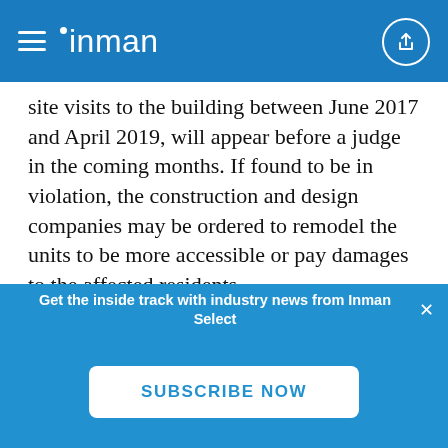inman
site visits to the building between June 2017 and April 2019, will appear before a judge in the coming months. If found to be in violation, the construction and design companies may be ordered to remodel the units to be more accessible or pay damages to the affected residents.
HUD regularly investigates complaints against landlords, homeowners and resident associations who fail to accommodate tenants
Get the inside track with industry news from Inman Select
SUBSCRIBE NOW